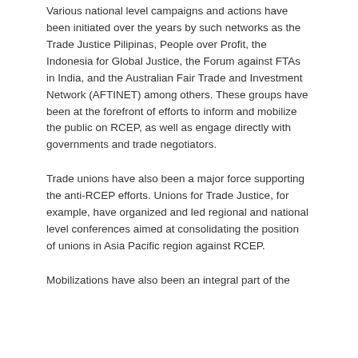Various national level campaigns and actions have been initiated over the years by such networks as the Trade Justice Pilipinas, People over Profit, the Indonesia for Global Justice, the Forum against FTAs in India, and the Australian Fair Trade and Investment Network (AFTINET) among others. These groups have been at the forefront of efforts to inform and mobilize the public on RCEP, as well as engage directly with governments and trade negotiators.
Trade unions have also been a major force supporting the anti-RCEP efforts. Unions for Trade Justice, for example, have organized and led regional and national level conferences aimed at consolidating the position of unions in Asia Pacific region against RCEP.
Mobilizations have also been an integral part of the